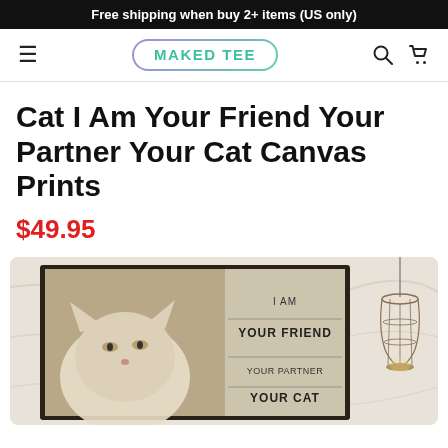Free shipping when buy 2+ items (US only)
[Figure (logo): MAKED TEE logo in teal text inside a pill-shaped border with purple-to-teal gradient, with hamburger menu icon on left and search/cart icons on right]
Cat I Am Your Friend Your Partner Your Cat Canvas Prints
$49.95
[Figure (photo): Canvas print mockup on a marble wall: framed poster showing a white cat looking up with text 'I AM YOUR FRIEND YOUR PARTNER YOUR CAT', next to a hanging industrial pendant lamp]